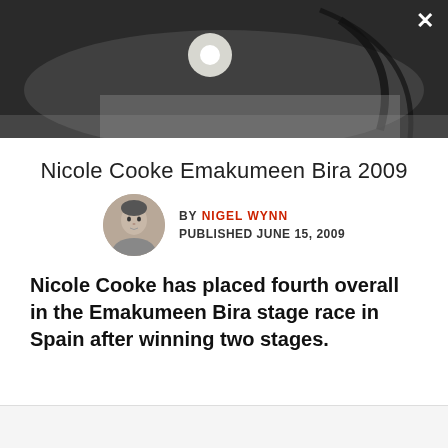[Figure (photo): Dark banner photo showing a cycling-related scene, bicycle parts visible, with a close/expand button icon in top right corner]
Nicole Cooke Emakumeen Bira 2009
BY NIGEL WYNN
PUBLISHED JUNE 15, 2009
Nicole Cooke has placed fourth overall in the Emakumeen Bira stage race in Spain after winning two stages.